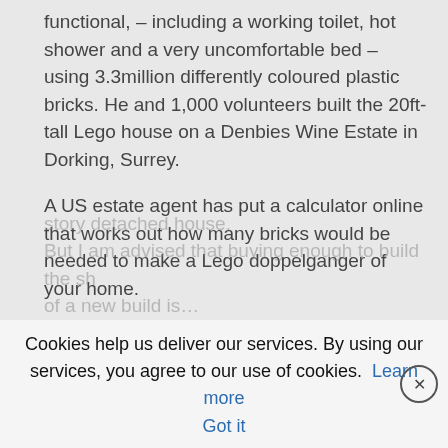functional,  – including a working toilet, hot shower and a very uncomfortable bed – using 3.3million differently coloured plastic bricks. He and 1,000 volunteers built the 20ft-tall Lego house on a Denbies Wine Estate in Dorking, Surrey.
A US estate agent has put a calculator online that works out how many bricks would be needed to make a Lego doppelganger of your home.
Check how many bricks and cost to build your dream house in Lego bricks.
I used calculated that it would take 9,442,180 Lego bricks at a cost of  $944,21 8to build a 1800 sqft, 2-story detached house.
Cookies help us deliver our services. By using our services, you agree to our use of cookies. Learn more  Got it